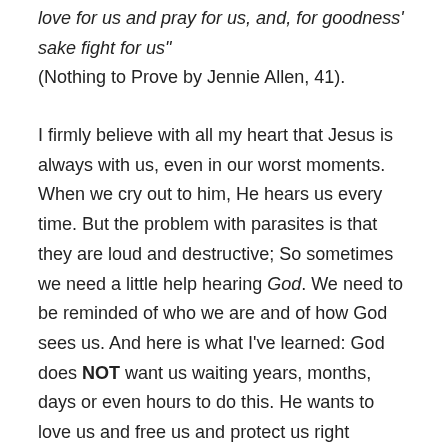love for us and pray for us, and, for goodness' sake fight for us" (Nothing to Prove by Jennie Allen, 41).
I firmly believe with all my heart that Jesus is always with us, even in our worst moments. When we cry out to him, He hears us every time. But the problem with parasites is that they are loud and destructive; So sometimes we need a little help hearing God. We need to be reminded of who we are and of how God sees us. And here is what I've learned: God does NOT want us waiting years, months, days or even hours to do this. He wants to love us and free us and protect us right NOW!! There is something to be said about letting others in on what's happening